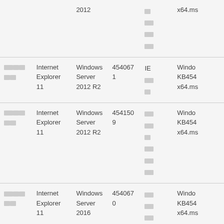|  |  | 2012 |  |  | x64.ms |
| --- | --- | --- | --- | --- | --- |
| □□□□□ | Internet Explorer 11 | Windows Server 2012 R2 | 4540671 | IE □□ □ | Windo KB454 x64.ms |
| □□□□□ | Internet Explorer 11 | Windows Server 2012 R2 | 4541509 | □□ □□ □ □□ □□ □□ | Windo KB454 x64.ms |
| □□□□□ | Internet Explorer 11 | Windows Server 2016 | 4540670 | □□ □□ □□ □□ □□ | Windo KB454 x64.ms |